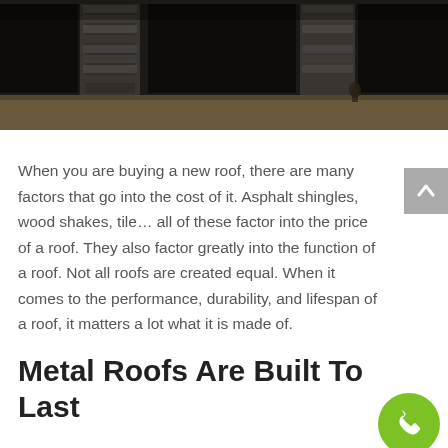[Figure (photo): Dark photo of a stone building exterior under construction, showing stone columns and walls with sandy ground in front.]
When you are buying a new roof, there are many factors that go into the cost of it. Asphalt shingles, wood shakes, tile… all of these factor into the price of a roof. They also factor greatly into the function of a roof. Not all roofs are created equal. When it comes to the performance, durability, and lifespan of a roof, it matters a lot what it is made of.
Metal Roofs Are Built To Last